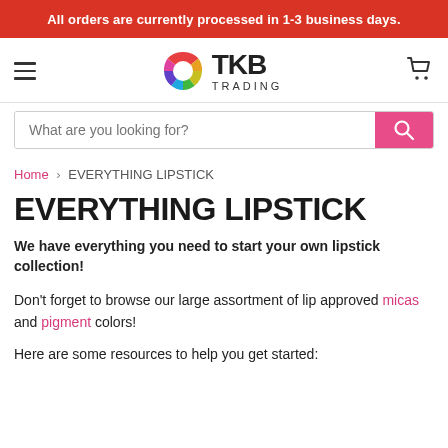All orders are currently processed in 1-3 business days.
[Figure (logo): TKB Trading logo with colorful pinwheel/pie-chart icon and hamburger menu and cart icon in header]
What are you looking for?
Home › EVERYTHING LIPSTICK
EVERYTHING LIPSTICK
We have everything you need to start your own lipstick collection!
Don't forget to browse our large assortment of lip approved micas and pigment colors!
Here are some resources to help you get started: